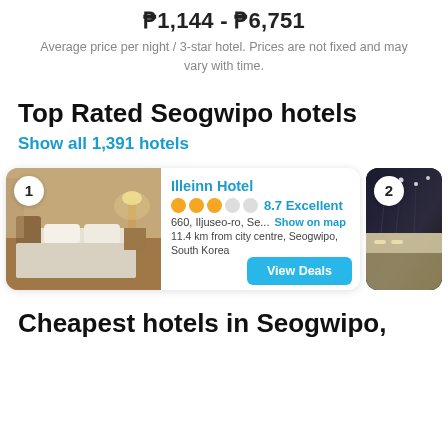₱1,144 - ₱6,751
Average price per night / 3-star hotel. Prices are not fixed and may vary with time.
Top Rated Seogwipo hotels
Show all 1,391 hotels
[Figure (photo): Hotel card for Illeinn Hotel showing a hotel bedroom photo on the left with a ranking badge '1', hotel details including name, 3.5 star rating, score 8.7 Excellent, address 660, Iljuseo-ro, Se..., 11.4 km from city centre, Seogwipo, South Korea, and a View Deals button. A second hotel card is partially visible on the right with badge '2' and a modern interior photo.]
Cheapest hotels in Seogwipo,